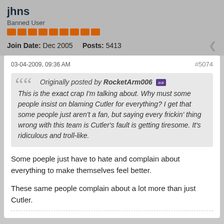jhns
Banned User
Join Date: Dec 2005   Posts: 5413
03-04-2009, 09:36 AM
#5074
Originally posted by RocketArm006 »» This is the exact crap I'm talking about. Why must some people insist on blaming Cutler for everything? I get that some people just aren't a fan, but saying every frickin' thing wrong with this team is Cutler's fault is getting tiresome. It's ridiculous and troll-like.
Some poeple just have to hate and complain about everything to make themselves feel better.
These same people complain about a lot more than just Cutler.
[Figure (logo): Denver Broncos logo on dark navy blue background]